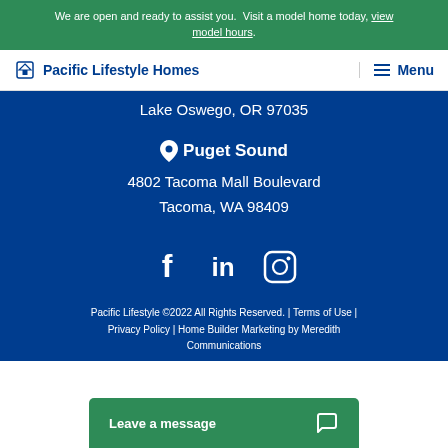We are open and ready to assist you. Visit a model home today, view model hours.
[Figure (logo): Pacific Lifestyle Homes logo with diamond/house icon and navigation menu button]
Lake Oswego, OR 97035
📍 Puget Sound
4802 Tacoma Mall Boulevard
Tacoma, WA 98409
[Figure (infographic): Social media icons: Facebook, LinkedIn, Instagram]
Pacific Lifestyle ©2022 All Rights Reserved. | Terms of Use | Privacy Policy | Home Builder Marketing by Meredith Communications
Leave a message